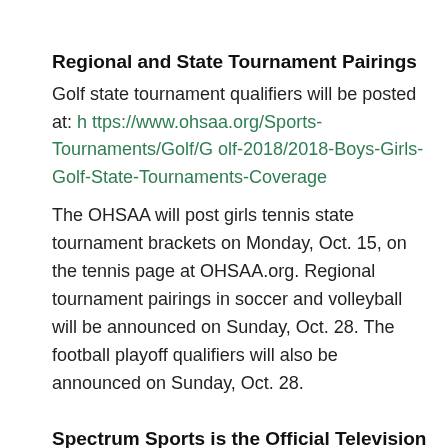Regional and State Tournament Pairings
Golf state tournament qualifiers will be posted at: https://www.ohsaa.org/Sports-Tournaments/Golf/Golf-2018/2018-Boys-Girls-Golf-State-Tournaments-Coverage
The OHSAA will post girls tennis state tournament brackets on Monday, Oct. 15, on the tennis page at OHSAA.org. Regional tournament pairings in soccer and volleyball will be announced on Sunday, Oct. 28. The football playoff qualifiers will also be announced on Sunday, Oct. 28.
Spectrum Sports is the Official Television Partner of the OHSAA